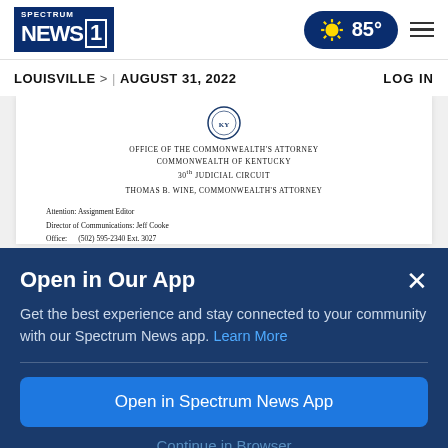Spectrum NEWS1 | 85° | ≡
LOUISVILLE > | AUGUST 31, 2022 | LOG IN
[Figure (screenshot): Scanned document from the Office of the Commonwealth's Attorney, Commonwealth of Kentucky, 30th Judicial Circuit, Thomas B. Wine, Commonwealth's Attorney. Contact info with Attention: Assignment Editor, Director of Communications: Jeff Cooke, Office: (502) 595-2340 Ext. 3027, Cell/Text: (502) 262-5809, E-mail: jcooke@louisvilleprosecutor.com. Statement by Thomas B. Wine in response to August 31, 2020 Facebook posts by Sam Aguiar: Re Breonna Taylor as Co-Defendant in the Jamarcus Glover case.]
Open in Our App
Get the best experience and stay connected to your community with our Spectrum News app. Learn More
Open in Spectrum News App
Continue in Browser